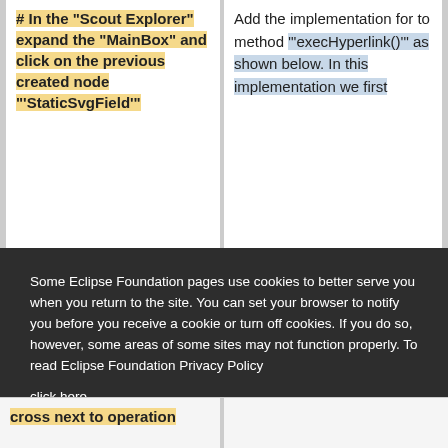# In the "Scout Explorer" expand the "MainBox" and click on the previous created node "'StaticSvgField'"
Add the implementation for to method "'execHyperlink()'" as shown below. In this implementation we first
Some Eclipse Foundation pages use cookies to better serve you when you return to the site. You can set your browser to notify you before you receive a cookie or turn off cookies. If you do so, however, some areas of some sites may not function properly. To read Eclipse Foundation Privacy Policy click here.
cross next to operation